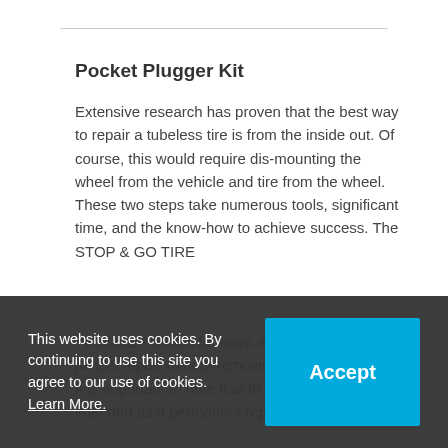Pocket Plugger Kit
Extensive research has proven that the best way to repair a tubeless tire is from the inside out. Of course, this would require dis-mounting the wheel from the vehicle and tire from the wheel. These two steps take numerous tools, significant time, and the know-how to achieve success. The STOP & GO TIRE PLUGGER allows for easy, effective, [wheel repair without removing the tire]. It is important to note that this is intended as a permanent repair but
This website uses cookies. By continuing to use this site you agree to our use of cookies. Learn More.
Accept